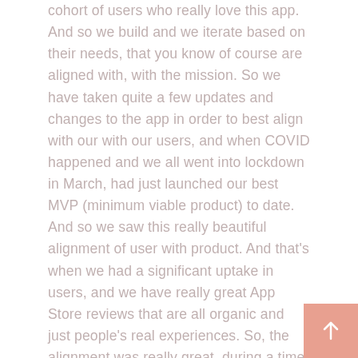cohort of users who really love this app. And so we build and we iterate based on their needs, that you know of course are aligned with, with the mission. So we have taken quite a few updates and changes to the app in order to best align with our with our users, and when COVID happened and we all went into lockdown in March, had just launched our best MVP (minimum viable product) to date. And so we saw this really beautiful alignment of user with product. And that's when we had a significant uptake in users, and we have really great App Store reviews that are all organic and just people's real experiences. So, the alignment was really great, during a time